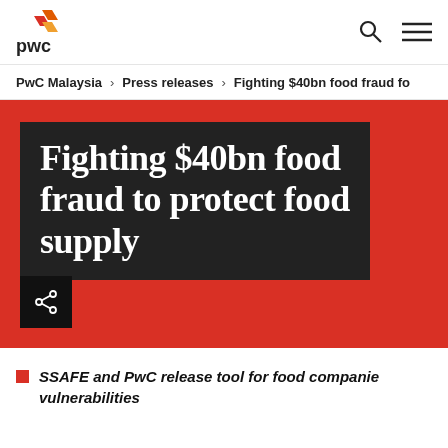[Figure (logo): PwC logo with orange/red geometric shape above the text 'pwc']
PwC Malaysia > Press releases > Fighting $40bn food fraud to
Fighting $40bn food fraud to protect food supply
SSAFE and PwC release tool for food companies vulnerabilities